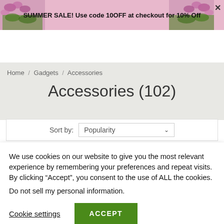SUMMER SALE! Use code 10OFF at checkout for 10% Off
[Figure (logo): Gadgets 4 Gifts logo with navigation bar including hamburger menu, search and cart icons]
Home / Gadgets / Accessories
Accessories (102)
Sort by: Popularity
We use cookies on our website to give you the most relevant experience by remembering your preferences and repeat visits. By clicking “Accept”, you consent to the use of ALL the cookies.
Do not sell my personal information.
Cookie settings  ACCEPT